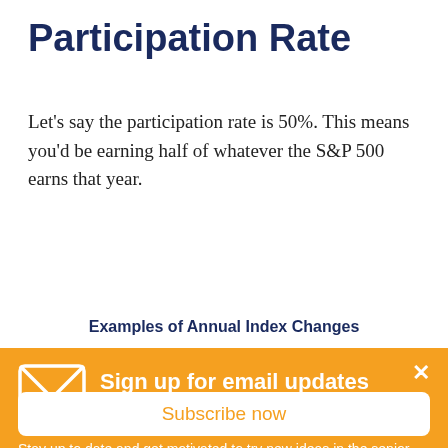Participation Rate
Let's say the participation rate is 50%. This means you'd be earning half of whatever the S&P 500 earns that year.
Examples of Annual Index Changes
Sign up for email updates
Stay up to date and get motivated to try new ideas in the senior market!
Subscribe now